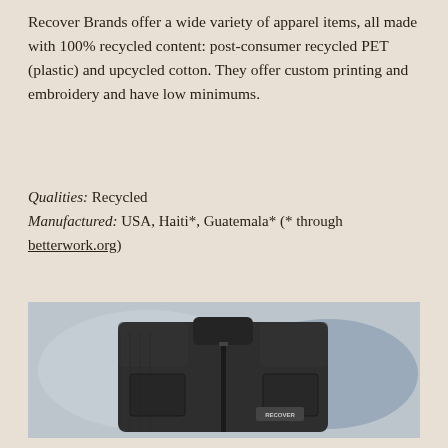Recover Brands offer a wide variety of apparel items, all made with 100% recycled content: post-consumer recycled PET (plastic) and upcycled cotton. They offer custom printing and embroidery and have low minimums.
Qualities: Recycled
Manufactured: USA, Haiti*, Guatemala* (* through betterwork.org)
[Figure (photo): A dark charcoal/grey folded zip-up jacket with a Recover brand logo patch, displayed on a light grey and blue watercolor-style background.]